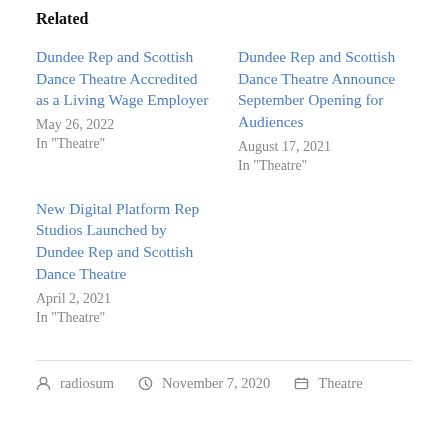Related
Dundee Rep and Scottish Dance Theatre Accredited as a Living Wage Employer
May 26, 2022
In "Theatre"
Dundee Rep and Scottish Dance Theatre Announce September Opening for Audiences
August 17, 2021
In "Theatre"
New Digital Platform Rep Studios Launched by Dundee Rep and Scottish Dance Theatre
April 2, 2021
In "Theatre"
radiosum   November 7, 2020   Theatre